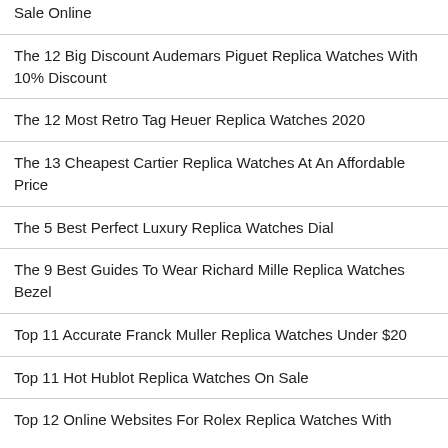Sale Online
The 12 Big Discount Audemars Piguet Replica Watches With 10% Discount
The 12 Most Retro Tag Heuer Replica Watches 2020
The 13 Cheapest Cartier Replica Watches At An Affordable Price
The 5 Best Perfect Luxury Replica Watches Dial
The 9 Best Guides To Wear Richard Mille Replica Watches Bezel
Top 11 Accurate Franck Muller Replica Watches Under $20
Top 11 Hot Hublot Replica Watches On Sale
Top 12 Online Websites For Rolex Replica Watches With